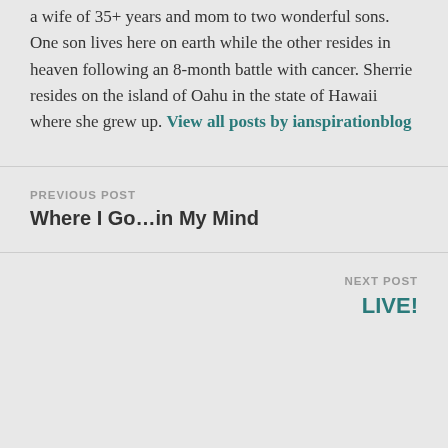a wife of 35+ years and mom to two wonderful sons. One son lives here on earth while the other resides in heaven following an 8-month battle with cancer. Sherrie resides on the island of Oahu in the state of Hawaii where she grew up. View all posts by ianspirationblog
PREVIOUS POST
Where I Go…in My Mind
NEXT POST
LIVE!